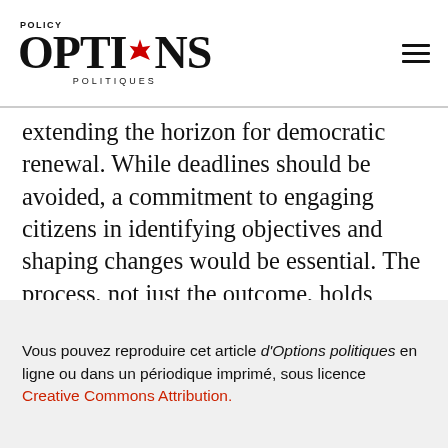POLICY OPTIONS POLITIQUES
extending the horizon for democratic renewal. While deadlines should be avoided, a commitment to engaging citizens in identifying objectives and shaping changes would be essential. The process, not just the outcome, holds promise of reducing the "˜democratic deficit."□
Vous pouvez reproduire cet article d’Options politiques en ligne ou dans un périodique imprimé, sous licence Creative Commons Attribution.